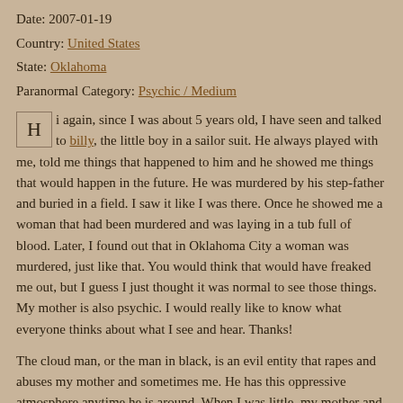Date: 2007-01-19
Country: United States
State: Oklahoma
Paranormal Category: Psychic / Medium
Hi again, since I was about 5 years old, I have seen and talked to billy, the little boy in a sailor suit. He always played with me, told me things that happened to him and he showed me things that would happen in the future. He was murdered by his step-father and buried in a field. I saw it like I was there. Once he showed me a woman that had been murdered and was laying in a tub full of blood. Later, I found out that in Oklahoma City a woman was murdered, just like that. You would think that would have freaked me out, but I guess I just thought it was normal to see those things. My mother is also psychic. I would really like to know what everyone thinks about what I see and hear. Thanks!
The cloud man, or the man in black, is an evil entity that rapes and abuses my mother and sometimes me. He has this oppressive atmosphere anytime he is around. When I was little, my mother and I were laying in her bed, about to go to sleep, because my bed kept shaking. We turned off the light and then seconds later, the bed starts to shake violently. We cannot move or breathe and the covers are pulled down. After about 5 minutes